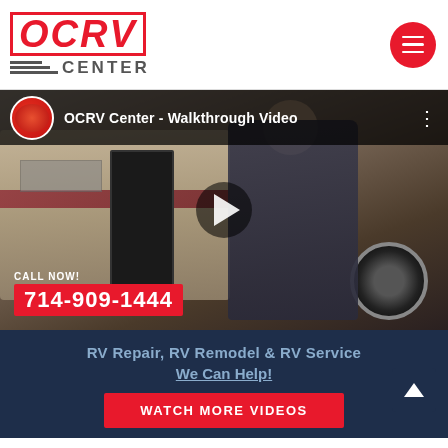OCRV CENTER
[Figure (screenshot): YouTube video thumbnail for 'OCRV Center - Walkthrough Video' showing a man standing in front of an RV, with a play button overlay and a call-to-action showing 714-909-1444]
RV Repair, RV Remodel & RV Service
We Can Help!
WATCH MORE VIDEOS
CONTACT INFO
Phone Number